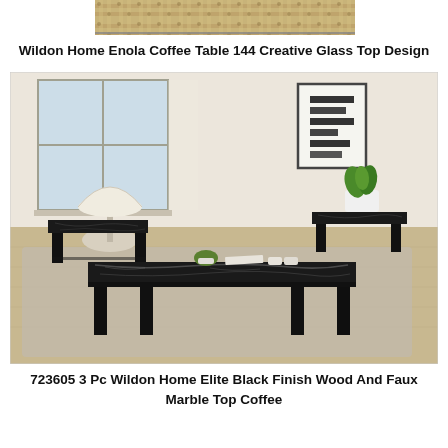[Figure (photo): Partial top view of a woven/braided rug or textile with geometric pattern in tan and brown tones]
Wildon Home Enola Coffee Table 144 Creative Glass Top Design
[Figure (photo): A living room scene featuring a 3-piece furniture set: one large rectangular coffee table with black faux marble top, and two matching end tables with black faux marble tops and black legs. A white lamp sits on the left end table, a plant with white pot on the right end table, and small items (plant, cups) on the coffee table. Light wood floors, a gray rug, white walls with a window on the left and framed wall art on the right.]
723605 3 Pc Wildon Home Elite Black Finish Wood And Faux Marble Top Coffee